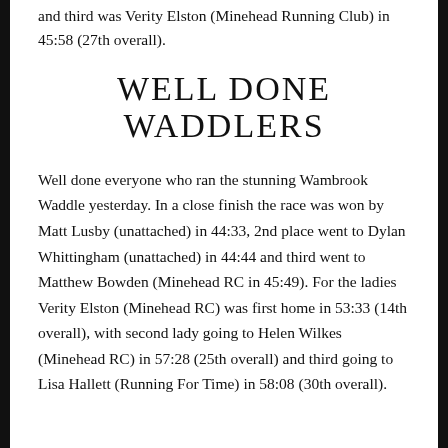and third was Verity Elston (Minehead Running Club) in 45:58 (27th overall).
WELL DONE WADDLERS
Well done everyone who ran the stunning Wambrook Waddle yesterday. In a close finish the race was won by Matt Lusby (unattached) in 44:33, 2nd place went to Dylan Whittingham (unattached) in 44:44 and third went to Matthew Bowden (Minehead RC in 45:49). For the ladies Verity Elston (Minehead RC) was first home in 53:33 (14th overall), with second lady going to Helen Wilkes (Minehead RC) in 57:28 (25th overall) and third going to Lisa Hallett (Running For Time) in 58:08 (30th overall).